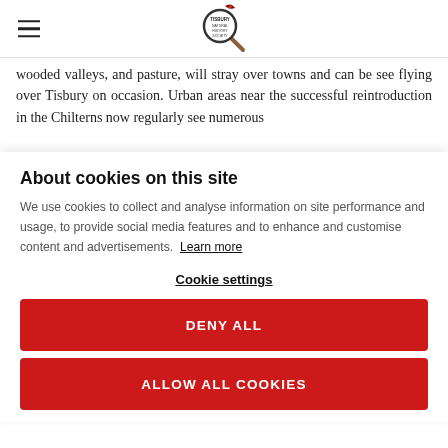Tisbury Natural History Society logo and navigation
wooded valleys, and pasture, will stray over towns and can be seen flying over Tisbury on occasion. Urban areas near the successful reintroduction in the Chilterns now regularly see numerous
About cookies on this site
We use cookies to collect and analyse information on site performance and usage, to provide social media features and to enhance and customise content and advertisements. Learn more
Cookie settings
DENY ALL
ALLOW ALL COOKIES